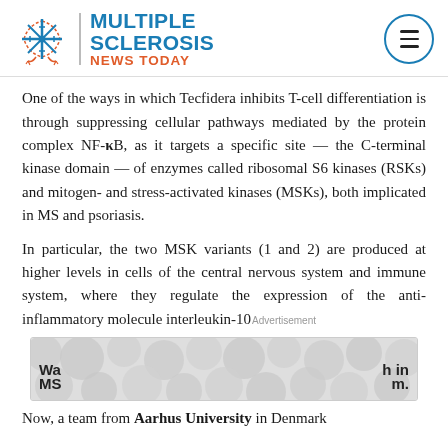Multiple Sclerosis News Today
One of the ways in which Tecfidera inhibits T-cell differentiation is through suppressing cellular pathways mediated by the protein complex NF-κB, as it targets a specific site — the C-terminal kinase domain — of enzymes called ribosomal S6 kinases (RSKs) and mitogen- and stress-activated kinases (MSKs), both implicated in MS and psoriasis.
In particular, the two MSK variants (1 and 2) are produced at higher levels in cells of the central nervous system and immune system, where they regulate the expression of the anti-inflammatory molecule interleukin-10.
[Figure (other): Advertisement block with blurred/redacted content showing partial text 'Wa... in MS... m.' with a decorative cell-pattern background]
Now, a team from Aarhus University in Denmark